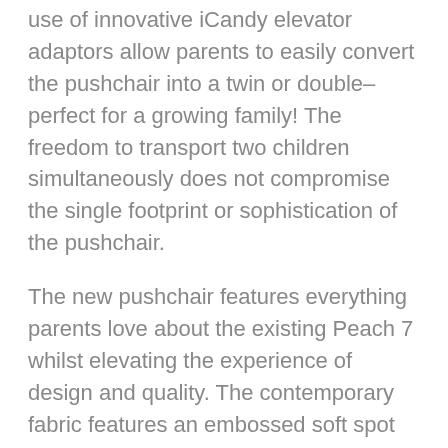use of innovative iCandy elevator adaptors allow parents to easily convert the pushchair into a twin or double– perfect for a growing family! The freedom to transport two children simultaneously does not compromise the single footprint or sophistication of the pushchair.
The new pushchair features everything parents love about the existing Peach 7 whilst elevating the experience of design and quality. The contemporary fabric features an embossed soft spot pattern, providing the feeling of luxury and excellent attention to detail. It surpasses the demands of the style conscious parents with a Cerium chassis that offers the sleekest of finishes.